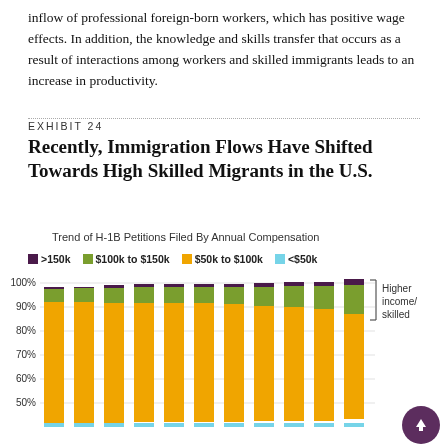inflow of professional foreign-born workers, which has positive wage effects. In addition, the knowledge and skills transfer that occurs as a result of interactions among workers and skilled immigrants leads to an increase in productivity.
EXHIBIT 24
Recently, Immigration Flows Have Shifted Towards High Skilled Migrants in the U.S.
Trend of H-1B Petitions Filed By Annual Compensation
[Figure (stacked-bar-chart): Trend of H-1B Petitions Filed By Annual Compensation]